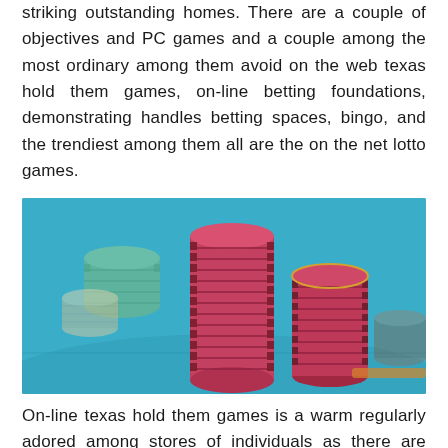striking outstanding homes. There are a couple of objectives and PC games and a couple among the most ordinary among them avoid on the web texas hold them games, on-line betting foundations, demonstrating handles betting spaces, bingo, and the trendiest among them all are the on the net lotto games.
[Figure (photo): A photograph of stacks of red/pink casino poker chips on a blue felt table surface, with blurred additional chips in the background.]
On-line texas hold them games is a warm regularly adored among stores of individuals as there are uncommon plans